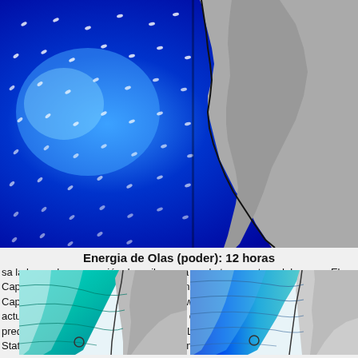[Figure (map): Satellite/radar map showing ocean wave energy off the coast of Baja California and southwestern United States, with blue ocean showing wave patterns with white directional markers, and gray land topography.]
Energia de Olas (poder): 12 horas
sa la barra de navegación de arriba para ver la temperatura del mar en El Capitan, fotografias El Capitan, previsiones detalladas de olas para El Capitan, vientos y previsión del tiempo, webcams para El Capitan, viento actual desde estaciones meteorológicas en CAL - Santa Barbara y predicciones de marea para El Capitan. Las mapas de olas para United States enseñarán un mapa grande de United States y los mares que rodean Read More
[Figure (map): Ocean wave map showing contour lines over the Pacific coast and western United States, with cyan and teal shading over the ocean indicating wave heights.]
[Figure (map): Ocean wave map showing contour lines and blue shading for wave energy off the coast of California and Baja California, with gray land topography.]